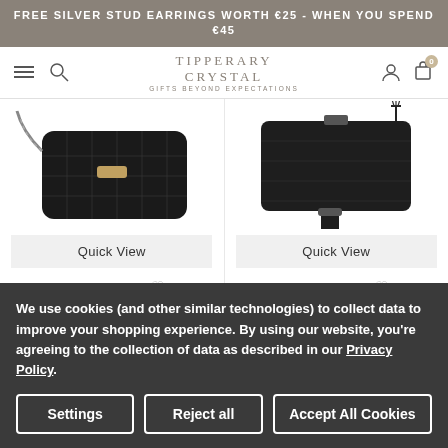FREE SILVER STUD EARRINGS WORTH €25 - WHEN YOU SPEND €45
[Figure (screenshot): Tipperary Crystal website navigation bar with hamburger menu, search icon, brand logo, account icon, and cart icon with 0 items]
[Figure (photo): Quilted Shoulder Bag Palermo Black - black quilted leather shoulder bag with chain strap]
[Figure (photo): The Chelsea Cross Body Pouch Black - black leather cross body pouch with tassel and wrist strap]
Quick View
Quick View
Tipperary Crystal
Tipperary Crystal
Quilted Shoulder Bag Palermo Black
The Chelsea Cross Body Pouch Black
We use cookies (and other similar technologies) to collect data to improve your shopping experience. By using our website, you're agreeing to the collection of data as described in our Privacy Policy.
Settings
Reject all
Accept All Cookies